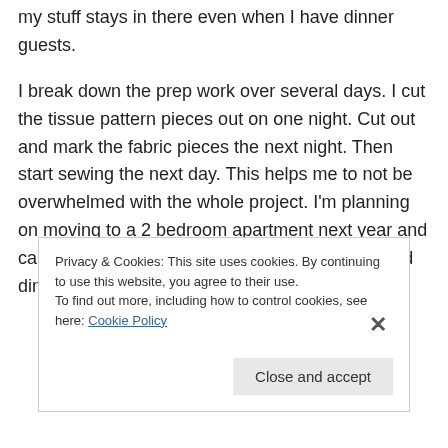my stuff stays in there even when I have dinner guests.
I break down the prep work over several days. I cut the tissue pattern pieces out on one night. Cut out and mark the fabric pieces the next night. Then start sewing the next day. This helps me to not be overwhelmed with the whole project. I'm planning on moving to a 2 bedroom apartment next year and cannot wait to have a dedicated sewing room and dining room.
Privacy & Cookies: This site uses cookies. By continuing to use this website, you agree to their use.
To find out more, including how to control cookies, see here: Cookie Policy